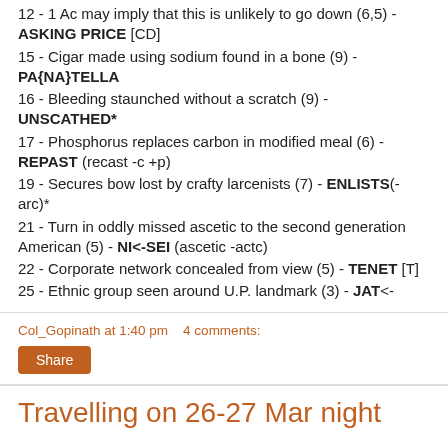12 - 1 Ac may imply that this is unlikely to go down (6,5) - ASKING PRICE [CD]
15 - Cigar made using sodium found in a bone (9) - PA{NA}TELLA
16 - Bleeding staunched without a scratch (9) - UNSCATHED*
17 - Phosphorus replaces carbon in modified meal (6) - REPAST (recast -c +p)
19 - Secures bow lost by crafty larcenists (7) - ENLISTS(-arc)*
21 - Turn in oddly missed ascetic to the second generation American (5) - NI<-SEI (ascetic -actc)
22 - Corporate network concealed from view (5) - TENET [T]
25 - Ethnic group seen around U.P. landmark (3) - JAT<-
Col_Gopinath at 1:40 pm   4 comments:
Share
Travelling on 26-27 Mar night